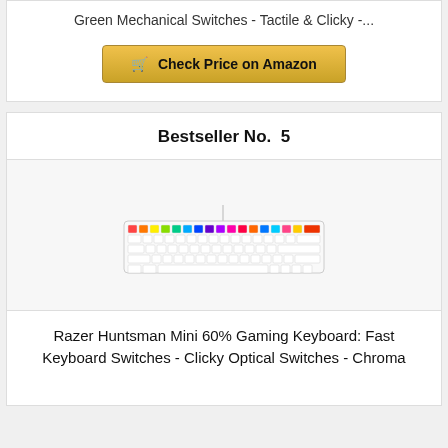Green Mechanical Switches - Tactile & Clicky -...
Check Price on Amazon
Bestseller No.  5
[Figure (photo): Razer Huntsman Mini 60% gaming keyboard with RGB rainbow lighting on white keys]
Razer Huntsman Mini 60% Gaming Keyboard: Fast Keyboard Switches - Clicky Optical Switches - Chroma